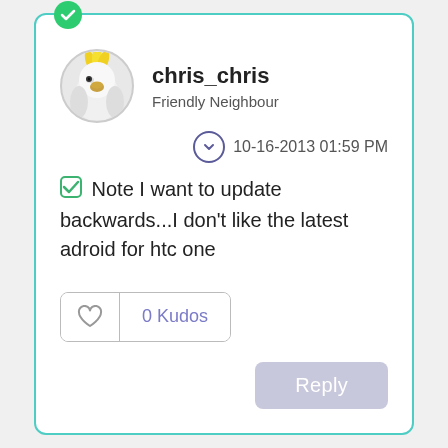chris_chris
Friendly Neighbour
10-16-2013 01:59 PM
Note I want to update backwards...I don't like the latest adroid for htc one
0 Kudos
Reply